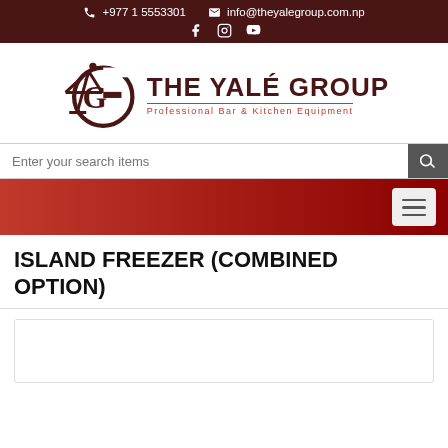+977 1 5553301  info@theyalegroup.com.np
[Figure (logo): The Yalé Group logo with martini glass icon and text 'THE YALÉ GROUP — Professional Bar & Kitchen Equipment']
Enter your search items
ISLAND FREEZER (COMBINED OPTION)